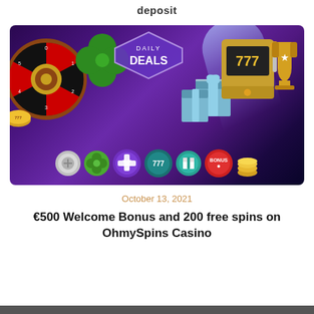deposit
[Figure (illustration): Casino promotional banner with Daily Deals badge, roulette wheel, four-leaf clover, slot machine showing 777, trophy, gift boxes, and colorful casino chip coins on a purple/dark background]
October 13, 2021
€500 Welcome Bonus and 200 free spins on OhmySpins Casino